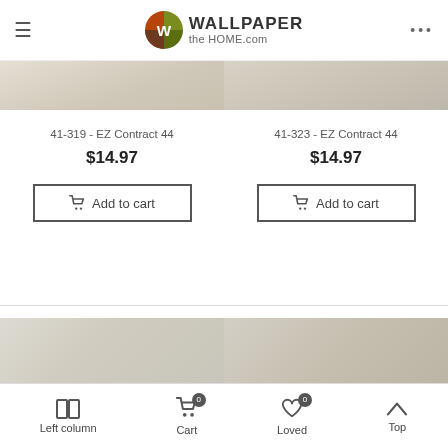[Figure (logo): Wallpaper the HOME.com logo with circular W icon in orange/green/brown]
[Figure (photo): Top portion of two wallpaper product images - left showing light beige/cream texture, right showing similar light textured wallpaper]
41-319 - EZ Contract 44
$14.97
Add to cart
41-323 - EZ Contract 44
$14.97
Add to cart
[Figure (photo): Bottom wallpaper product image left - light grey/beige linen-like fabric texture]
[Figure (photo): Bottom wallpaper product image right - beige/tan crinkled or aged texture pattern]
Left column   Cart 0   Loved 0   Top